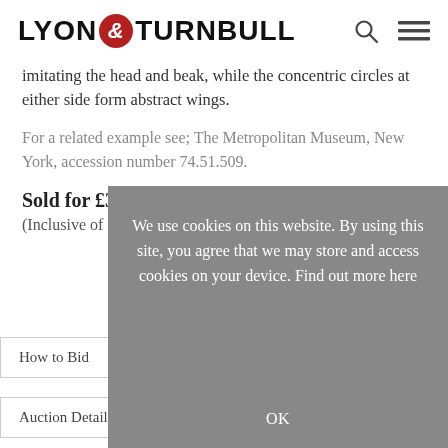[Figure (logo): Lyon & Turnbull logo with ampersand in red circle]
imitating the head and beak, while the concentric circles at either side form abstract wings.
For a related example see; The Metropolitan Museum, New York, accession number 74.51.509.
Sold for £30,000
(Inclusive of
How to Bid
Auction Details
We use cookies on this website. By using this site, you agree that we may store and access cookies on your device. Find out more here
OK